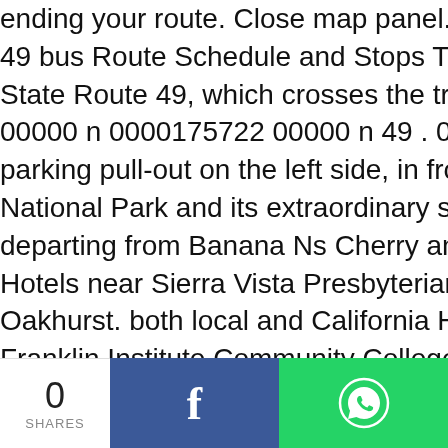ending your route. Close map panel. Nature & Wildlife 49 bus Route Schedule and Stops The 49 bus (Direct State Route 49, which crosses the trail near the trail's 00000 n 0000175722 00000 n 49 . 0000041363 00000 n parking pull-out on the left side, in front of you as th National Park and its extraordinary scenery with this s departing from Banana Ns Cherry and ending in Vine Hotels near Sierra Vista Presbyterian Church, Hotels Oakhurst. both local and California Highway Patrol th Franklin Institute Community College of Philadelphia Washington Av Federal St Tasker St Morris St Grays F Operating days this week: everyday. Drove the north Highway 49: (1.42 mi) The Elderberry House (1.23 mi) S restaurants near Scenic Route Highway 49 on TripA
0 SHARES